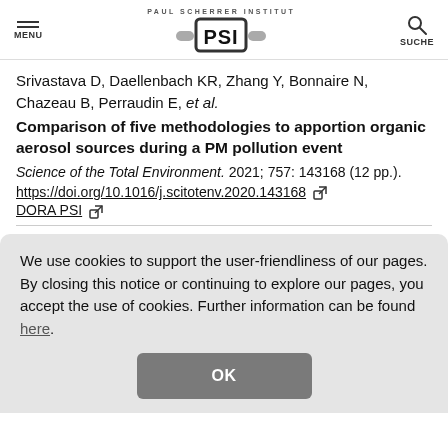MENU | PAUL SCHERRER INSTITUT PSI | SUCHE
Srivastava D, Daellenbach KR, Zhang Y, Bonnaire N, Chazeau B, Perraudin E, et al.
Comparison of five methodologies to apportion organic aerosol sources during a PM pollution event
Science of the Total Environment. 2021; 757: 143168 (12 pp.). https://doi.org/10.1016/j.scitotenv.2020.143168
DORA PSI
We use cookies to support the user-friendliness of our pages. By closing this notice or continuing to explore our pages, you accept the use of cookies. Further information can be found here.